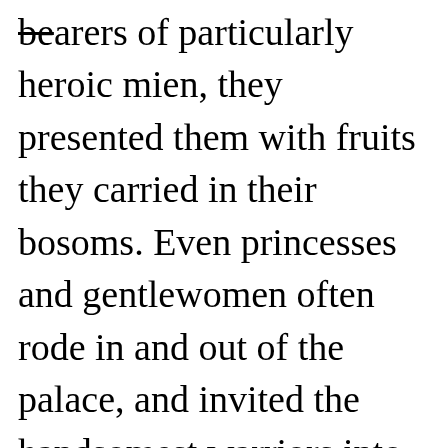bearers of particularly heroic mien, they presented them with fruits they carried in their bosoms. Even princesses and gentlewomen often rode in and out of the palace, and invited the handsomest warriors into their chambers to tickle them with their beards, afterwards presenting them with betrothal